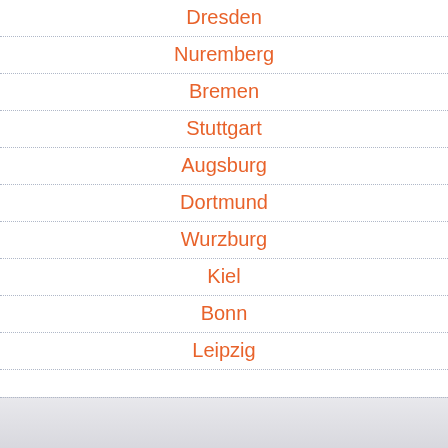Dresden
Nuremberg
Bremen
Stuttgart
Augsburg
Dortmund
Wurzburg
Kiel
Bonn
Leipzig